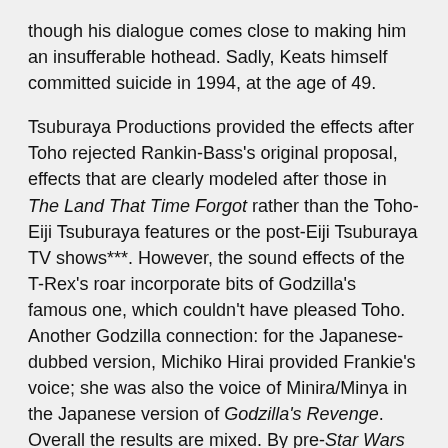though his dialogue comes close to making him an insufferable hothead. Sadly, Keats himself committed suicide in 1994, at the age of 49.
Tsuburaya Productions provided the effects after Toho rejected Rankin-Bass's original proposal, effects that are clearly modeled after those in The Land That Time Forgot rather than the Toho-Eiji Tsuburaya features or the post-Eiji Tsuburaya TV shows***. However, the sound effects of the T-Rex's roar incorporate bits of Godzilla's famous one, which couldn't have pleased Toho. Another Godzilla connection: for the Japanese-dubbed version, Michiko Hirai provided Frankie's voice; she was also the voice of Minira/Minya in the Japanese version of Godzilla's Revenge. Overall the results are mixed. By pre-Star Wars standards some of the miniatures and matte shots are quite good, especially those early in the film, before the Lost World scenes.
The T-Rex is a disappointment. It looks more playful than threatening - especially during the sequence where it buries the